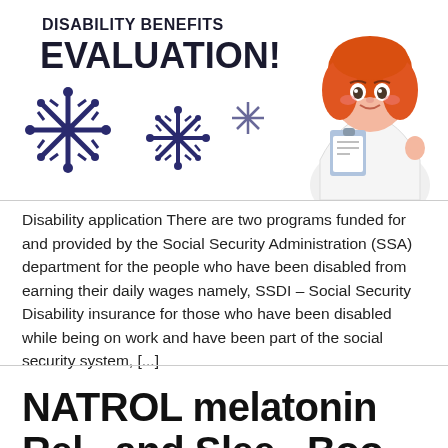[Figure (illustration): Promotional illustration for Disability Benefits Evaluation featuring a cartoon female doctor with red hair holding a clipboard, accompanied by two snowflake icons, with bold text reading 'DISABILITY BENEFITS EVALUATION!']
Disability application There are two programs funded for and provided by the Social Security Administration (SSA) department for the people who have been disabled from earning their daily wages namely, SSDI – Social Security Disability insurance for those who have been disabled while being on work and have been part of the social security system, [...]
NATROL melatonin Rel...and Slee...Boo...